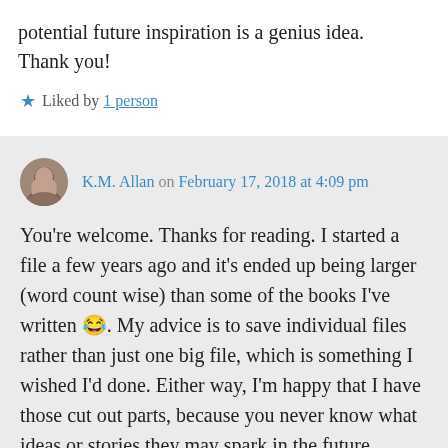potential future inspiration is a genius idea. Thank you!
★ Liked by 1 person
K.M. Allan on February 17, 2018 at 4:09 pm
You're welcome. Thanks for reading. I started a file a few years ago and it's ended up being larger (word count wise) than some of the books I've written 😂. My advice is to save individual files rather than just one big file, which is something I wished I'd done. Either way, I'm happy that I have those cut out parts, because you never know what ideas or stories they may spark in the future.